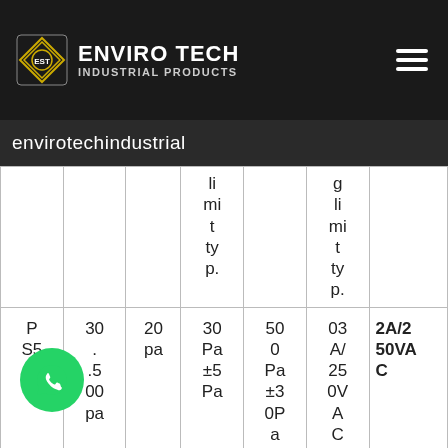ENVIRO TECH INDUSTRIAL PRODUCTS
envirotechindustrial
|  |  |  | limit type. |  | g limit type. |  |
| --- | --- | --- | --- | --- | --- | --- |
| P S500 | 30. .5 00 pa | 20 pa | 30 Pa ±5 Pa | 500 Pa ±30Pa | 03 A/ 25 0V A C | 2A/250VAC |